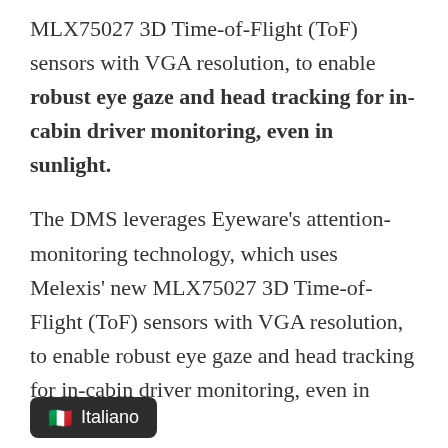MLX75027 3D Time-of-Flight (ToF) sensors with VGA resolution, to enable robust eye gaze and head tracking for in-cabin driver monitoring, even in sunlight.
The DMS leverages Eyeware's attention-monitoring technology, which uses Melexis' new MLX75027 3D Time-of-Flight (ToF) sensors with VGA resolution, to enable robust eye gaze and head tracking for in-cabin driver monitoring, even in sunlight.
As a pioneer in the field of eye-tracking, Eyeware uses 3D Time-of-Flight cameras to overcome the li... infrared-based tracking
[Figure (other): Browser language translation tooltip overlay showing Italian flag emoji and the word 'Italiano']